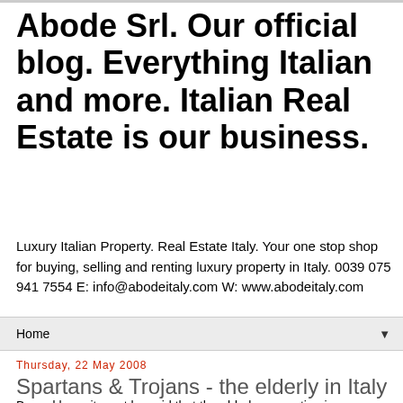Abode Srl. Our official blog. Everything Italian and more. Italian Real Estate is our business.
Luxury Italian Property. Real Estate Italy. Your one stop shop for buying, selling and renting luxury property in Italy. 0039 075 941 7554 E: info@abodeitaly.com W: www.abodeitaly.com
Home
Thursday, 22 May 2008
Spartans & Trojans - the elderly in Italy
By and large it must be said that the elderly generation in